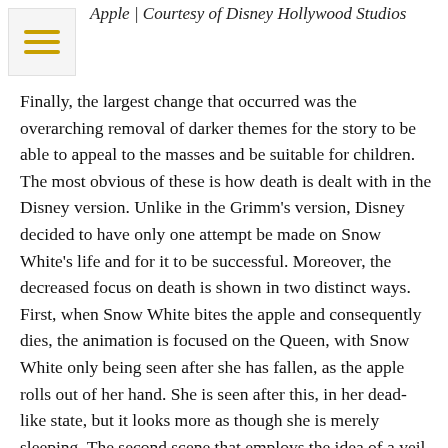Apple | Courtesy of Disney Hollywood Studios
Finally, the largest change that occurred was the overarching removal of darker themes for the story to be able to appeal to the masses and be suitable for children. The most obvious of these is how death is dealt with in the Disney version. Unlike in the Grimm's version, Disney decided to have only one attempt be made on Snow White's life and for it to be successful. Moreover, the decreased focus on death is shown in two distinct ways. First, when Snow White bites the apple and consequently dies, the animation is focused on the Queen, with Snow White only being seen after she has fallen, as the apple rolls out of her hand. She is seen after this, in her dead-like state, but it looks more as though she is merely sleeping. The second scene that employs the idea of a veil over a death is how